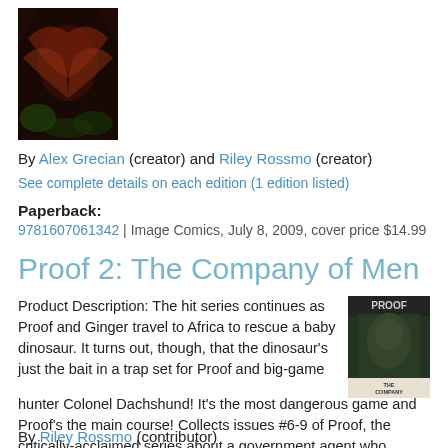[Figure (photo): Book cover image for Proof comic series, dark red/black illustrated cover]
By Alex Grecian (creator) and Riley Rossmo (creator)
See complete details on each edition (1 edition listed)
Paperback:
9781607061342 | Image Comics, July 8, 2009, cover price $14.99
Proof 2: The Company of Men
Product Description: The hit series continues as Proof and Ginger travel to Africa to rescue a baby dinosaur. It turns out, though, that the dinosaur's just the bait in a trap set for Proof and big-game hunter Colonel Dachshund! It's the most dangerous game and Proof's the main course! Collects issues #6-9 of Proof, the critically-acclaimed series about a government agent who doubles as a case file...read more
[Figure (photo): Book cover image for Proof 2: The Company of Men]
By Riley Rossmo (contributor)